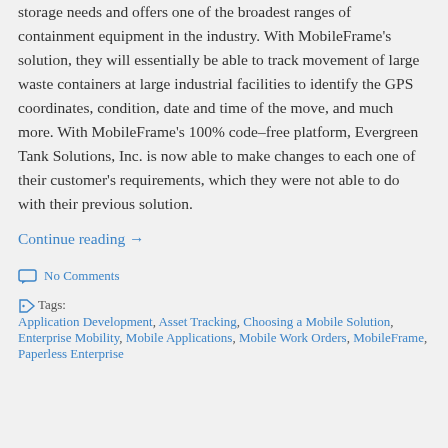storage needs and offers one of the broadest ranges of containment equipment in the industry. With MobileFrame's solution, they will essentially be able to track movement of large waste containers at large industrial facilities to identify the GPS coordinates, condition, date and time of the move, and much more. With MobileFrame's 100% code–free platform, Evergreen Tank Solutions, Inc. is now able to make changes to each one of their customer's requirements, which they were not able to do with their previous solution.
Continue reading →
No Comments
Tags: Application Development, Asset Tracking, Choosing a Mobile Solution, Enterprise Mobility, Mobile Applications, Mobile Work Orders, MobileFrame, Paperless Enterprise